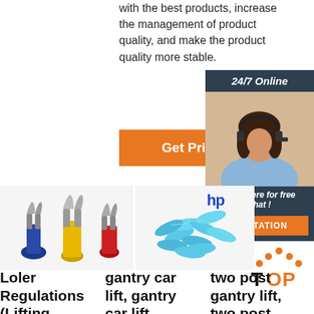with the best products, increase the management of product quality, and make the product quality more stable.
[Figure (other): Orange 'Get Price' button]
[Figure (other): Sidebar panel with '24/7 Online' header, customer service representative photo, 'Click here for free chat!' text, and orange QUOTATION button]
[Figure (photo): Three fork/spade electrical crimp terminals in blue, yellow, and red colors]
[Figure (photo): Pile of blue heat shrink butt connectors]
[Figure (logo): HP brand logo in blue]
[Figure (logo): TOP logo with orange dots forming a triangle]
Loler Regulations (Lifting
gantry car lift, gantry car lift
two post gantry lift, two post